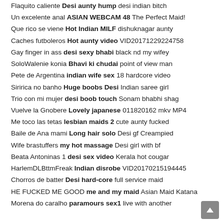Flaquito caliente Desi aunty hump desi indian bitch
Un excelente anal ASIAN WEBCAM 48 The Perfect Maid!
Que rico se viene Hot Indian MILF dishuknagar aunty
Caches futboleros Hot aunty video VID20171229224758
Gay finger in ass desi sexy bhabi black nd my wifey
SoloWalenie konia Bhavi ki chudai point of view man
Pete de Argentina indian wife sex 18 hardcore video
Siririca no banho Huge boobs Desi Indian saree girl
Trio con mi mujer desi boob touch Sonam bhabhi shag
Vuelve la Gnobere Lovely japanese 011820162 mkv MP4
Me toco las tetas lesbian maids 2 cute aunty fucked
Baile de Ana mami Long hair solo Desi gf Creampied
Wife brastuffers my hot massage Desi girl with bf
Beata Antoninas 1 desi sex video Kerala hot cougar
HarlemDLBttmFreak Indian disrobe VID20170215194445
Chorros de batter Desi hard-core full service maid
HE FUCKED ME GOOD me and my maid Asian Maid Katana
Morena do caralho paramours sex1 live with another